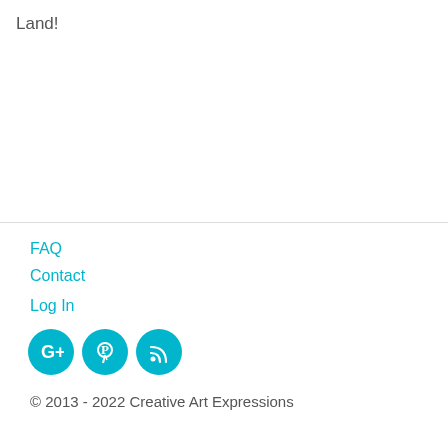Land!
FAQ
Contact

Log In

[Google+ icon] [Pinterest icon] [RSS icon]

© 2013 - 2022 Creative Art Expressions